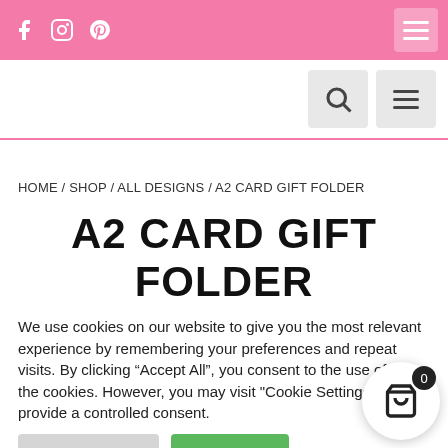Social icons: f, Instagram, Pinterest; Hamburger menu
Search icon, Hamburger menu
HOME / SHOP / ALL DESIGNS / A2 CARD GIFT FOLDER
A2 CARD GIFT FOLDER
We use cookies on our website to give you the most relevant experience by remembering your preferences and repeat visits. By clicking “Accept All”, you consent to the use of ALL the cookies. However, you may visit "Cookie Settings" to provide a controlled consent.
Cookie Settings | Accept All